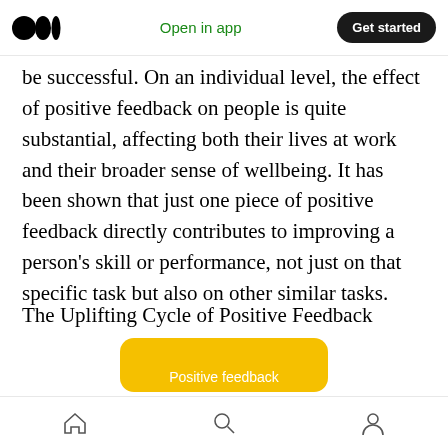Open in app | Get started
be successful. On an individual level, the effect of positive feedback on people is quite substantial, affecting both their lives at work and their broader sense of wellbeing. It has been shown that just one piece of positive feedback directly contributes to improving a person's skill or performance, not just on that specific task but also on other similar tasks.
The Uplifting Cycle of Positive Feedback
[Figure (infographic): Partially visible yellow rounded rectangle card with white text reading 'Positive feedback' at the bottom of the screen]
Home | Search | Profile navigation icons